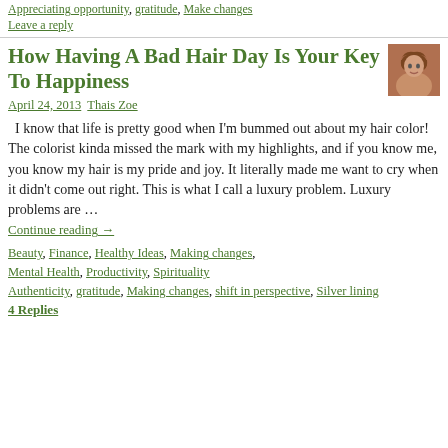Appreciating opportunity, gratitude, Make changes
Leave a reply
How Having A Bad Hair Day Is Your Key To Happiness
April 24, 2013   Thais Zoe
I know that life is pretty good when I'm bummed out about my hair color! The colorist kinda missed the mark with my highlights, and if you know me, you know my hair is my pride and joy. It literally made me want to cry when it didn't come out right. This is what I call a luxury problem. Luxury problems are …
Continue reading →
Beauty, Finance, Healthy Ideas, Making changes, Mental Health, Productivity, Spirituality Authenticity, gratitude, Making changes, shift in perspective, Silver lining
4 Replies